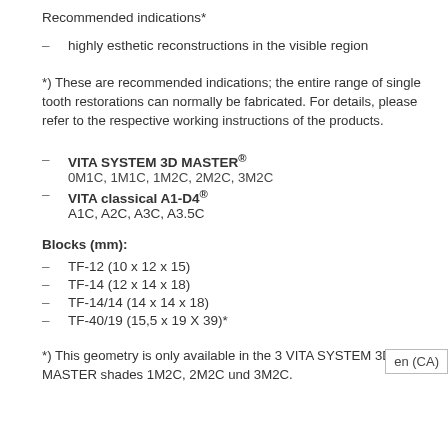Recommended indications*
– highly esthetic reconstructions in the visible region
*) These are recommended indications; the entire range of single tooth restorations can normally be fabricated. For details, please refer to the respective working instructions of the products.
– VITA SYSTEM 3D MASTER® 0M1C, 1M1C, 1M2C, 2M2C, 3M2C
– VITA classical A1-D4® A1C, A2C, A3C, A3.5C
Blocks (mm):
– TF-12 (10 x 12 x 15)
– TF-14 (12 x 14 x 18)
– TF-14/14 (14 x 14 x 18)
– TF-40/19 (15,5 x 19 X 39)*
*) This geometry is only available in the 3 VITA SYSTEM 3D-MASTER shades 1M2C, 2M2C und 3M2C.
en (CA)